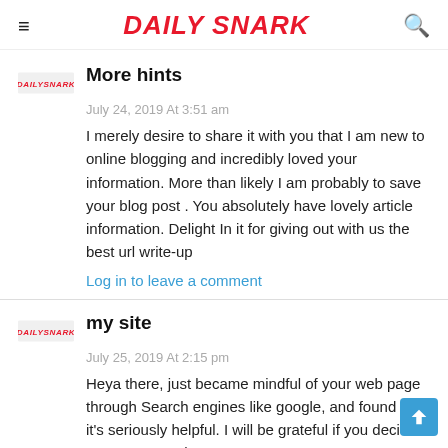Daily Snark
More hints
July 24, 2019 At 3:51 am
I merely desire to share it with you that I am new to online blogging and incredibly loved your information. More than likely I am probably to save your blog post . You absolutely have lovely article information. Delight In it for giving out with us the best url write-up
Log in to leave a comment
my site
July 25, 2019 At 2:15 pm
Heya there, just became mindful of your web page through Search engines like google, and found that it's seriously helpful. I will be grateful if you decide to carry on such.